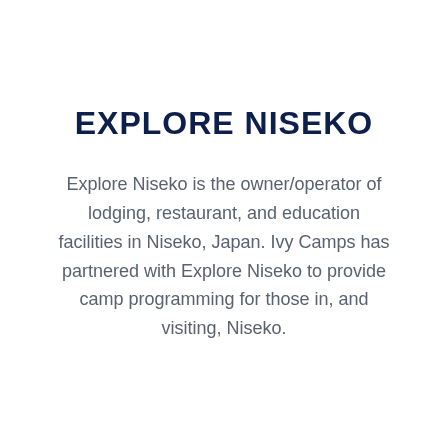EXPLORE NISEKO
Explore Niseko is the owner/operator of lodging, restaurant, and education facilities in Niseko, Japan. Ivy Camps has partnered with Explore Niseko to provide camp programming for those in, and visiting, Niseko.